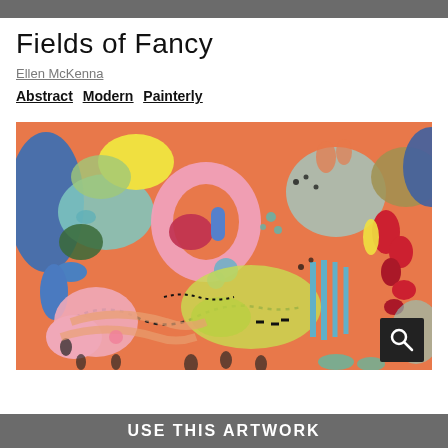Fields of Fancy
Ellen McKenna
Abstract  Modern  Painterly
[Figure (illustration): Colorful abstract painting with swirling organic shapes in orange, pink, blue, teal, yellow, green, and red on an orange background. The composition features biomorphic forms, curved lines, and dotted patterns reminiscent of a lush fantasy landscape.]
USE THIS ARTWORK